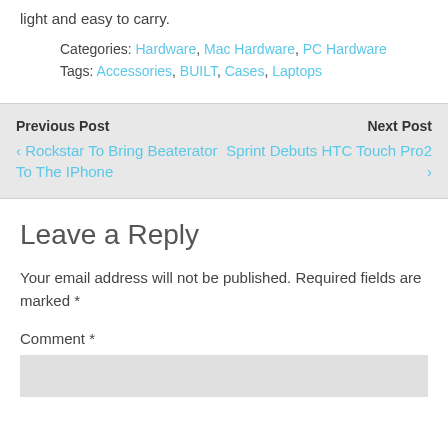light and easy to carry.
Categories: Hardware, Mac Hardware, PC Hardware
Tags: Accessories, BUILT, Cases, Laptops
Previous Post
< Rockstar To Bring Beaterator To The IPhone
Next Post
Sprint Debuts HTC Touch Pro2 >
Leave a Reply
Your email address will not be published. Required fields are marked *
Comment *